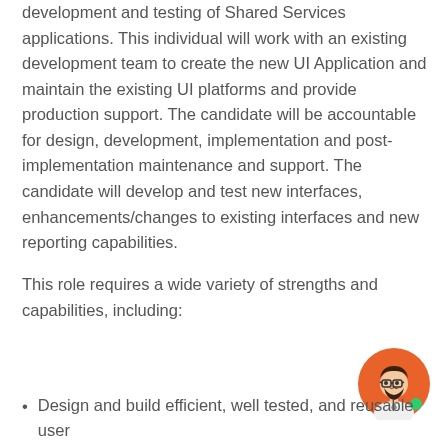development and testing of Shared Services applications. This individual will work with an existing development team to create the new UI Application and maintain the existing UI platforms and provide production support. The candidate will be accountable for design, development, implementation and post-implementation maintenance and support. The candidate will develop and test new interfaces, enhancements/changes to existing interfaces and new reporting capabilities.
This role requires a wide variety of strengths and capabilities, including:
Design and build efficient, well tested, and reusable user